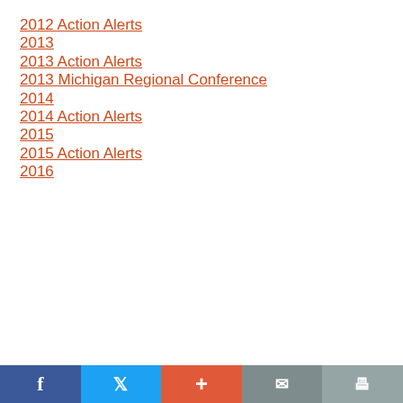2012 Action Alerts
2013
2013 Action Alerts
2013 Michigan Regional Conference
2014
2014 Action Alerts
2015
2015 Action Alerts
2016